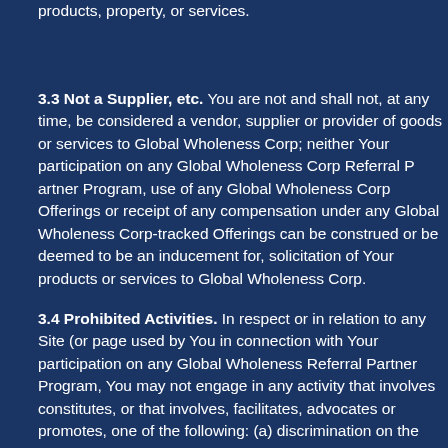products, property, or services.
3.3 Not a Supplier, etc. You are not and shall not, at any time, be considered a vendor, supplier or provider of goods or services to Global Wholeness Corp; neither Your participation on any Global Wholeness Corp Referral Partner Program, use of any Global Wholeness Corp Offerings or receipt of any compensation under any Global Wholeness Corp-tracked Offerings can be construed or be deemed to be an inducement for, solicitation of Your products or services to Global Wholeness Corp.
3.4 Prohibited Activities. In respect or in relation to any Site (or page used by You in connection with Your participation on any Global Wholeness Corp Referral Partner Program, You may not engage in any activity that constitutes, or that involves, facilitates, advocates or promotes, one of the following: (a) discrimination on the basis of race, ethnicity, gender, orientation, age or disability or any other unlawful basis under